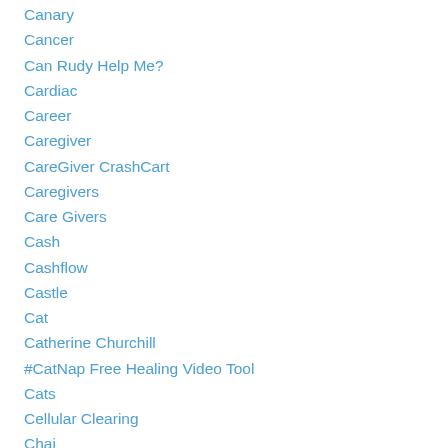Canary
Cancer
Can Rudy Help Me?
Cardiac
Career
Caregiver
CareGiver CrashCart
Caregivers
Care Givers
Cash
Cashflow
Castle
Cat
Catherine Churchill
#CatNap Free Healing Video Tool
Cats
Cellular Clearing
Chai
Chakra
Chakra Bending
Chakras